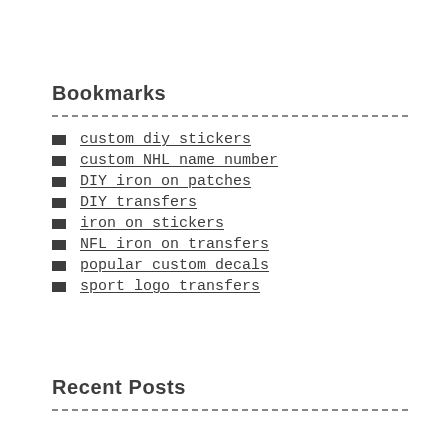Bookmarks
custom diy stickers
custom NHL name number
DIY iron on patches
DIY transfers
iron on stickers
NFL iron on transfers
popular custom decals
sport logo transfers
Recent Posts